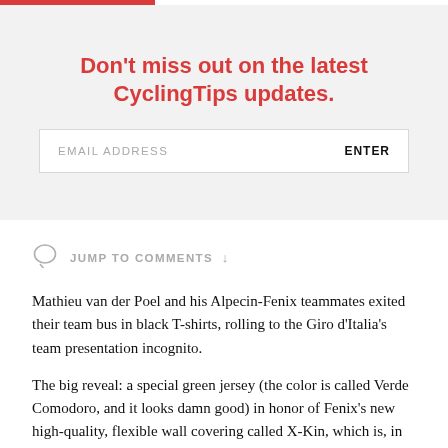Don't miss out on the latest CyclingTips updates.
JUMP TO COMMENTS ↓
Mathieu van der Poel and his Alpecin-Fenix teammates exited their team bus in black T-shirts, rolling to the Giro d'Italia's team presentation incognito.
The big reveal: a special green jersey (the color is called Verde Comodoro, and it looks damn good) in honor of Fenix's new high-quality, flexible wall covering called X-Kin, which is, in case you were wondering, both incredibly